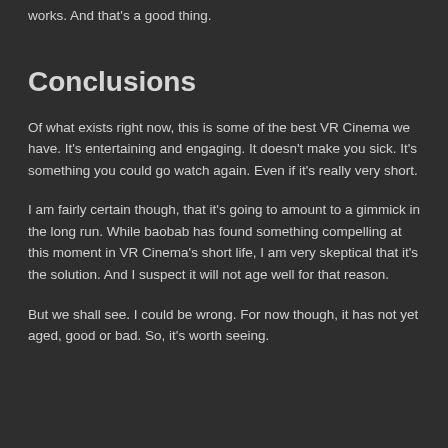works.  And that's a good thing.
Conclusions
Of what exists right now, this is some of the best VR Cinema we have.  It's entertaining and engaging.  It doesn't make you sick.  It's something you could go watch again.  Even if it's really very short.
I am fairly certain though, that it's going to amount to a gimmick in the long run.  While baobab has found something compelling at this moment in VR Cinema's short life, I am very skeptical that it's the solution.  And I suspect it will not age well for that reason.
But we shall see.  I could be wrong.  For now though, it has not yet aged, good or bad.  So, it's worth seeing.